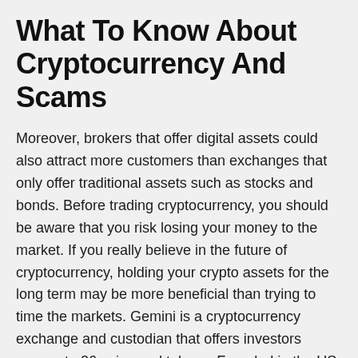What To Know About Cryptocurrency And Scams
Moreover, brokers that offer digital assets could also attract more customers than exchanges that only offer traditional assets such as stocks and bonds. Before trading cryptocurrency, you should be aware that you risk losing your money to the market. If you really believe in the future of cryptocurrency, holding your crypto assets for the long term may be more beneficial than trying to time the markets. Gemini is a cryptocurrency exchange and custodian that offers investors access to 26 coins and tokens. Founded in the US, Gemini is expanding globally, in particular into Europe and Asia. Offerings include both major cryptocurrency projects like Bitcoin and Ethereum, and smaller altcoins like Orchid